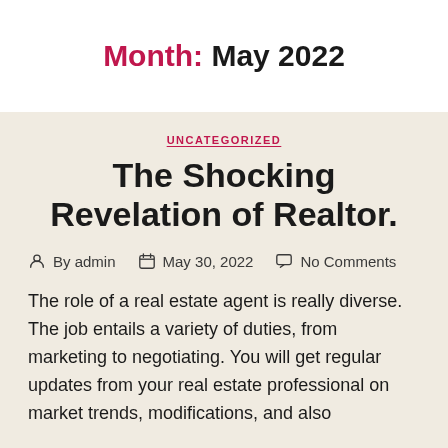Month: May 2022
UNCATEGORIZED
The Shocking Revelation of Realtor.
By admin  May 30, 2022  No Comments
The role of a real estate agent is really diverse. The job entails a variety of duties, from marketing to negotiating. You will get regular updates from your real estate professional on market trends, modifications, and also